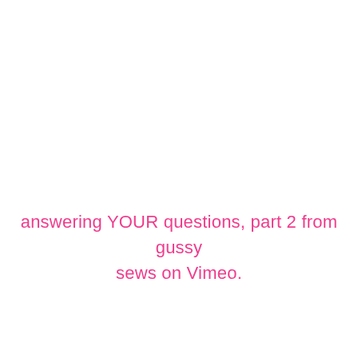answering YOUR questions, part 2 from gussy sews on Vimeo.